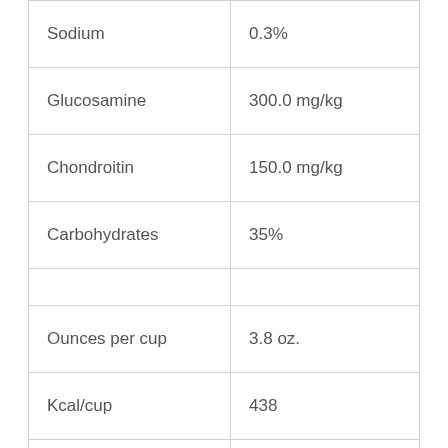| Nutrient | Value |
| --- | --- |
| Sodium | 0.3% |
| Glucosamine | 300.0 mg/kg |
| Chondroitin | 150.0 mg/kg |
| Carbohydrates | 35% |
|  |  |
| Ounces per cup | 3.8 oz. |
| Kcal/cup | 438 |
| Kcal/kg | 4,036 |
|  |  |